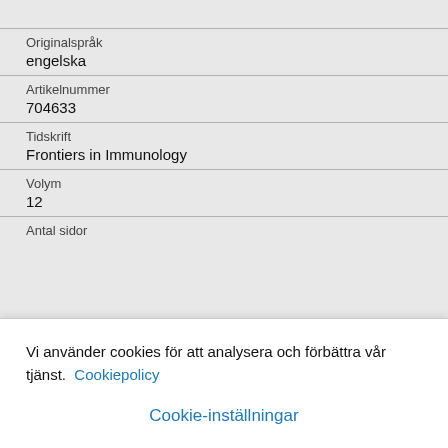Originalspråk
engelska
Artikelnummer
704633
Tidskrift
Frontiers in Immunology
Volym
12
Antal sidor
Vi använder cookies för att analysera och förbättra vår tjänst.  Cookiepolicy
Cookie-inställningar